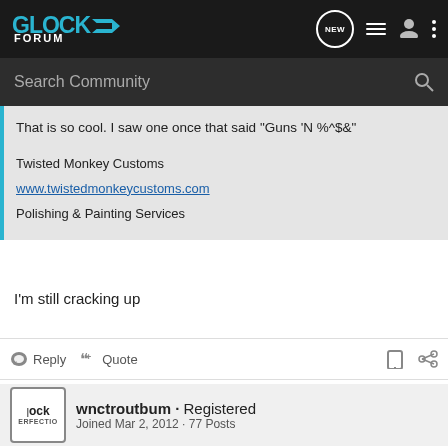Glock Forum [logo with navigation icons: NEW, list, user, menu]
Search Community
That is so cool. I saw one once that said "Guns 'N %^$&"

Twisted Monkey Customs
www.twistedmonkeycustoms.com
Polishing & Painting Services
I'm still cracking up
Reply  Quote
wnctroutbum · Registered
Joined Mar 2, 2012 · 77 Posts
#6 · May 26, 2012